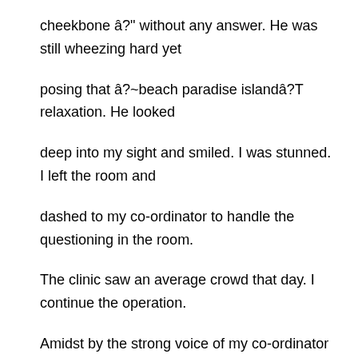cheekbone â?" without any answer. He was still wheezing hard yet posing that â?~beach paradise islandâ?T relaxation. He looked deep into my sight and smiled. I was stunned. I left the room and dashed to my co-ordinator to handle the questioning in the room. The clinic saw an average crowd that day. I continue the operation. Amidst by the strong voice of my co-ordinator in the room, I sense this isnâ?Tt good. Calling for the doctorâ?Ts review, my co-ordinator rush out for assistance. When noises from the room broke into silence, the other colleague